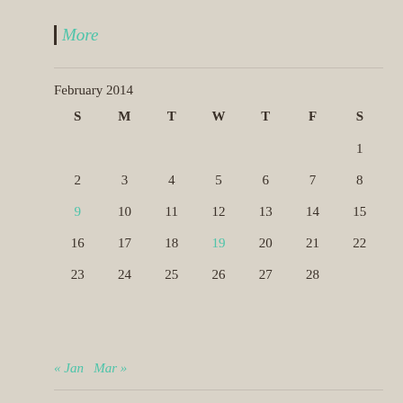| More
| S | M | T | W | T | F | S |
| --- | --- | --- | --- | --- | --- | --- |
|  |  |  |  |  |  | 1 |
| 2 | 3 | 4 | 5 | 6 | 7 | 8 |
| 9 | 10 | 11 | 12 | 13 | 14 | 15 |
| 16 | 17 | 18 | 19 | 20 | 21 | 22 |
| 23 | 24 | 25 | 26 | 27 | 28 |  |  |
« Jan   Mar »